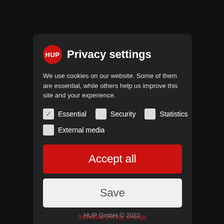HUP Privacy settings
We use cookies on our website. Some of them are essential, while others help us improve this site and your experience.
Essential
Security
Statistics
External media
Accept all
Save
Individual privacy settings
Cookie-Details | Privacy policy | Imprint
HUP GmbH © 2022